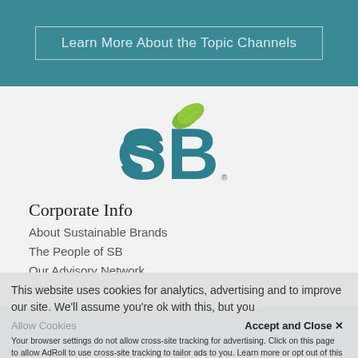Learn More About the Topic Channels
[Figure (logo): Sustainable Brands SB logo with teal letters S and B and green leaf accent]
Corporate Info
About Sustainable Brands
The People of SB
Our Advisory Network
SB Corporate Members
SB for You
SB...
Allow Advertising...
This website uses cookies for analytics, advertising and to improve our site. We'll assume you're ok with this, but you
Allow Cookies
Accept and Close ✕
Your browser settings do not allow cross-site tracking for advertising. Click on this page to allow AdRoll to use cross-site tracking to tailor ads to you. Learn more or opt out of this AdRoll tracking by clicking here. This message only appears once.